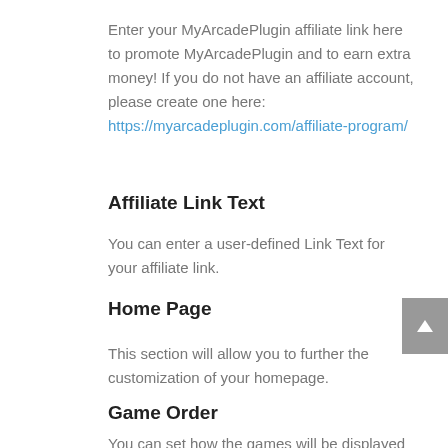Enter your MyArcadePlugin affiliate link here to promote MyArcadePlugin and to earn extra money! If you do not have an affiliate account, please create one here: https://myarcadeplugin.com/affiliate-program/
Affiliate Link Text
You can enter a user-defined Link Text for your affiliate link.
Home Page
This section will allow you to further the customization of your homepage.
Game Order
You can set how the games will be displayed on